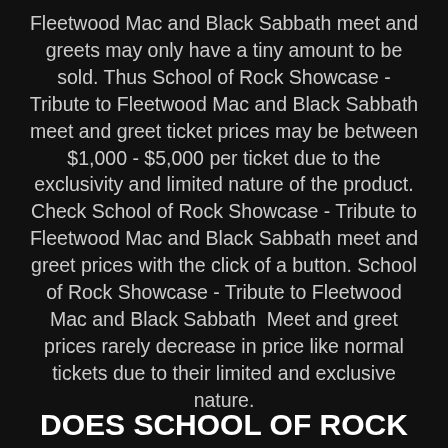Fleetwood Mac and Black Sabbath meet and greets may only have a tiny amount to be sold. Thus School of Rock Showcase - Tribute to Fleetwood Mac and Black Sabbath meet and greet ticket prices may be between $1,000 - $5,000 per ticket due to the exclusivity and limited nature of the product. Check School of Rock Showcase - Tribute to Fleetwood Mac and Black Sabbath meet and greet prices with the click of a button. School of Rock Showcase - Tribute to Fleetwood Mac and Black Sabbath  Meet and greet prices rarely decrease in price like normal tickets due to their limited and exclusive nature.
DOES SCHOOL OF ROCK